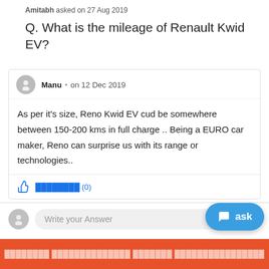Amitabh asked on 27 Aug 2019
Q. What is the mileage of Renault Kwid EV?
Manu • on 12 Dec 2019
As per it's size, Reno Kwid EV cud be somewhere between 150-200 kms in full charge .. Being a EURO car maker, Reno can surprise us with its range or technologies..
Helpful (0)
3 ░░░░░░░░ ░ ░░░░░
Write your Answer
ask
░░░░░░░░ ░░░░░░░░░░░░░░ ░░░░░░░ ░░░░░░░░░░░░░░░░